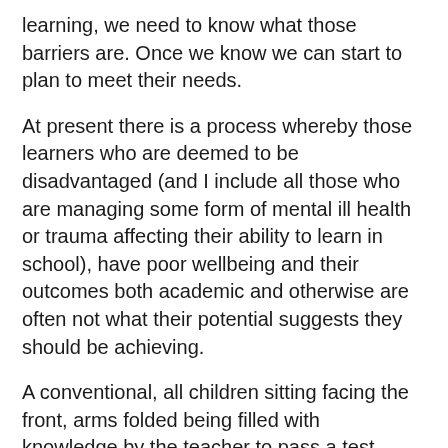learning, we need to know what those barriers are. Once we know we can start to plan to meet their needs.
At present there is a process whereby those learners who are deemed to be disadvantaged (and I include all those who are managing some form of mental ill health or trauma affecting their ability to learn in school), have poor wellbeing and their outcomes both academic and otherwise are often not what their potential suggests they should be achieving.
A conventional, all children sitting facing the front, arms folded being filled with knowledge by the teacher to pass a test, assumes that all children are able to process and remember this knowledge. However, if we are being honest...